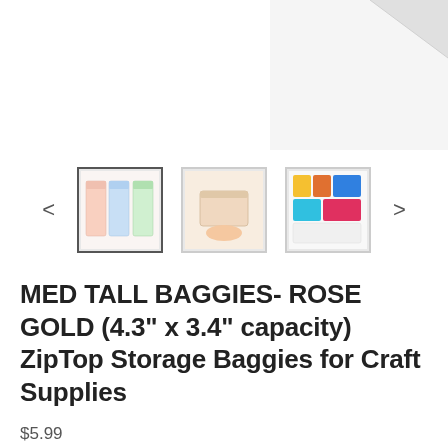[Figure (photo): Product main image area showing white/light colored packaging with folded top corner against white background]
[Figure (photo): Thumbnail carousel with left arrow, three product thumbnails (first selected with border), and right arrow. Thumbnails show: 1) colorful zip baggies arrangement, 2) hand holding/using bag, 3) assorted items in colorful bags]
MED TALL BAGGIES- ROSE GOLD (4.3" x 3.4" capacity) ZipTop Storage Baggies for Craft Supplies
$5.99